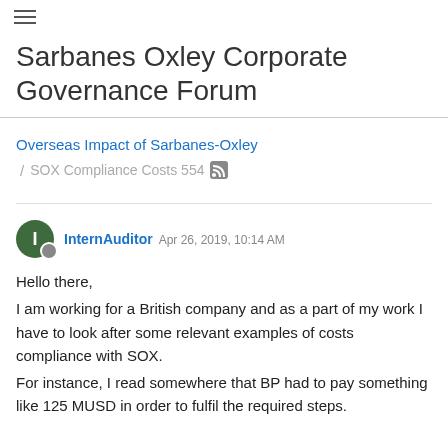≡
Sarbanes Oxley Corporate Governance Forum
Overseas Impact of Sarbanes-Oxley
/ SOX Compliance Costs 554
InternAuditor Apr 26, 2019, 10:14 AM
Hello there,
I am working for a British company and as a part of my work I have to look after some relevant examples of costs compliance with SOX.
For instance, I read somewhere that BP had to pay something like 125 MUSD in order to fulfil the required steps.